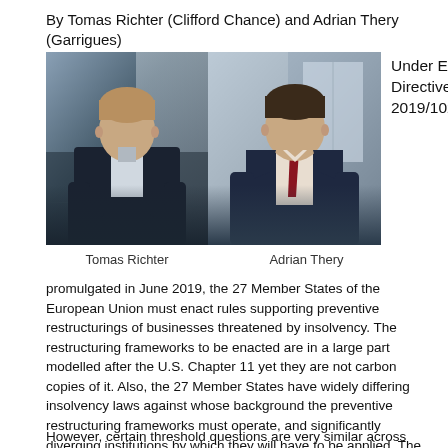By Tomas Richter (Clifford Chance) and Adrian Thery (Garrigues)
[Figure (photo): Portrait photo of Tomas Richter, a man in a dark suit standing in a corridor with glass walls. Photo is in color.]
[Figure (photo): Portrait photo of Adrian Thery, a man in a dark suit with a red tie, standing in front of a light background. Photo is in color.]
Under EU Directive 2019/1023
Tomas Richter
Adrian Thery
promulgated in June 2019, the 27 Member States of the European Union must enact rules supporting preventive restructurings of businesses threatened by insolvency. The restructuring frameworks to be enacted are in a large part modelled after the U.S. Chapter 11 yet they are not carbon copies of it. Also, the 27 Member States have widely differing insolvency laws against whose background the preventive restructuring frameworks must operate, and significantly diverging institutions by which they will have to be applied. The implementation tasks will be both varied and formidable.
However, certain threshold questions are very similar across